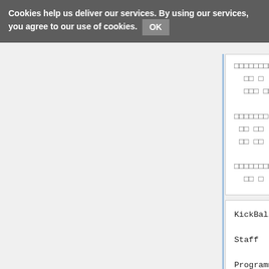Cookies help us deliver our services. By using our services, you agree to our use of cookies. OK
□□□□□□□□□□□□ (Project Management)
□□ □ (Hiroshi Satō)
□□□ □□ (Toshiharu Izuno)

□□□□□□□ (Producer)
□□ □□ (Masanobu Suzui)
□□ □□ (Hōki Shiyama)

□□□□□□□□□□□□□□□ (Executive Producer)
□□ □ (Satoru Iwata)
KickBall (PCE)

Staff

Programming by
 T.Murata (Taku Murata)
 Kre
 K.Kobayashi (Kazumi Kobayashi)

Graphic Designed by